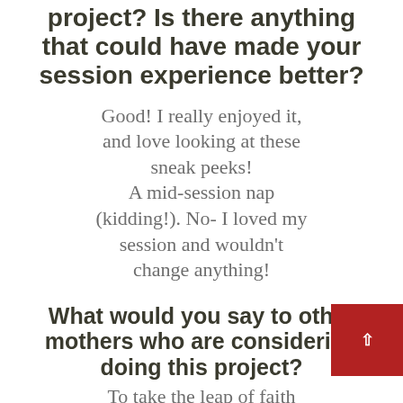project? Is there anything that could have made your session experience better?
Good! I really enjoyed it, and love looking at these sneak peeks! A mid-session nap (kidding!). No- I loved my session and wouldn't change anything!
What would you say to other mothers who are considering doing this project?
To take the leap of faith and try it! You can be as open and daring as you are most comfortable